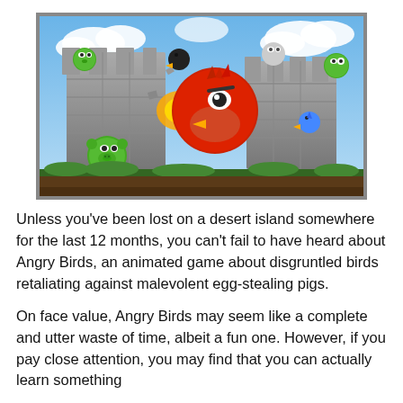[Figure (illustration): Promotional image from the Angry Birds game showing the large red bird in the center breaking through stone castle walls, surrounded by green pigs and other birds flying through the air, with a cloudy blue sky and grass in the background. Image has a dark gray border/frame.]
Unless you've been lost on a desert island somewhere for the last 12 months, you can't fail to have heard about Angry Birds, an animated game about disgruntled birds retaliating against malevolent egg-stealing pigs.
On face value, Angry Birds may seem like a complete and utter waste of time, albeit a fun one. However, if you pay close attention, you may find that you can actually learn something